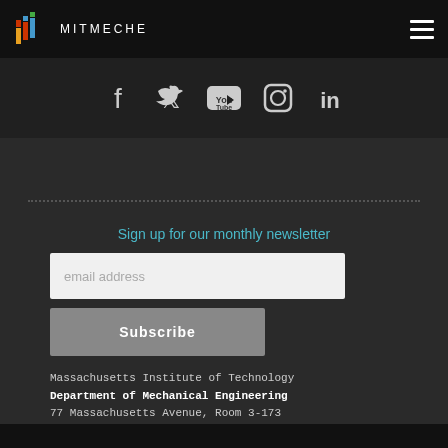MITMECHE
[Figure (illustration): Social media icons row: Facebook, Twitter, YouTube, Instagram, LinkedIn on dark background]
Sign up for our monthly newsletter
email address
Subscribe
Massachusetts Institute of Technology
Department of Mechanical Engineering
77 Massachusetts Avenue, Room 3-173
Cambridge, Massachusetts 02139